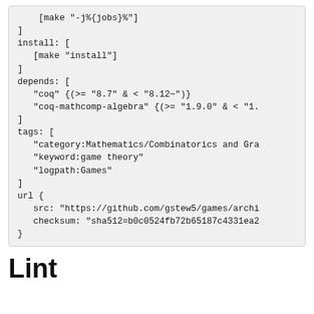[make "-j%{jobs}%"]
]
install: [
  [make "install"]
]
depends: [
  "coq" {(>= "8.7" & < "8.12~")}
  "coq-mathcomp-algebra" {(>= "1.9.0" & < "1.
]
tags: [
  "category:Mathematics/Combinatorics and Gra
  "keyword:game theory"
  "logpath:Games"
]
url {
  src: "https://github.com/gstew5/games/archi
  checksum: "sha512=b0c0524fb72b65187c4331ea2
}
Lint